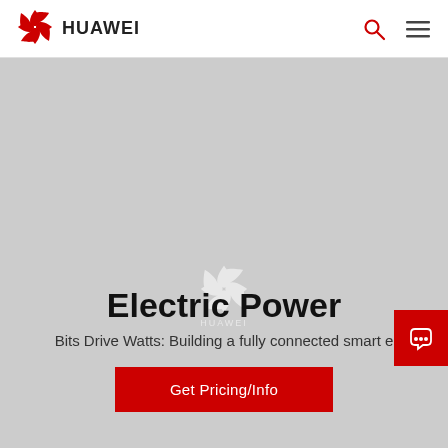[Figure (logo): Huawei logo with red flower icon and HUAWEI text in header]
[Figure (screenshot): Navigation icons: search magnifying glass and hamburger menu in top right of header]
[Figure (photo): Large grey hero image background]
[Figure (logo): Huawei watermark logo centered in lower hero area]
Electric Power
Bits Drive Watts: Building a fully connected smart e
[Figure (other): Red button: Get Pricing/Info]
[Figure (other): Red chat/message bubble button on right side]